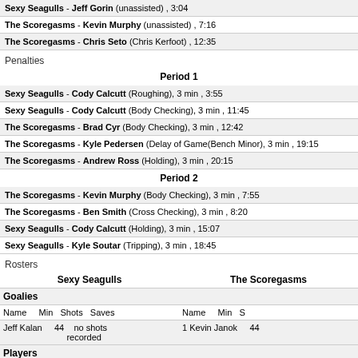Sexy Seagulls - Jeff Gorin (unassisted) , 3:04
The Scoregasms - Kevin Murphy (unassisted) , 7:16
The Scoregasms - Chris Seto (Chris Kerfoot) , 12:35
Penalties
Period 1
Sexy Seagulls - Cody Calcutt (Roughing), 3 min , 3:55
Sexy Seagulls - Cody Calcutt (Body Checking), 3 min , 11:45
The Scoregasms - Brad Cyr (Body Checking), 3 min , 12:42
The Scoregasms - Kyle Pedersen (Delay of Game(Bench Minor), 3 min , 19:15
The Scoregasms - Andrew Ross (Holding), 3 min , 20:15
Period 2
The Scoregasms - Kevin Murphy (Body Checking), 3 min , 7:55
The Scoregasms - Ben Smith (Cross Checking), 3 min , 8:20
Sexy Seagulls - Cody Calcutt (Holding), 3 min , 15:07
Sexy Seagulls - Kyle Soutar (Tripping), 3 min , 18:45
Rosters
| Sexy Seagulls | The Scoregasms |
| --- | --- |
| Goalies |  |
| Name  Min  Shots  Saves | Name  Min  Shots  Saves |
| Jeff Kalan  44  no shots recorded | 1 Kevin Janok  44 |
| Players |  |
| #  Name  G  A  PTS  PIM  GWG | #  Name  G  A  PT |